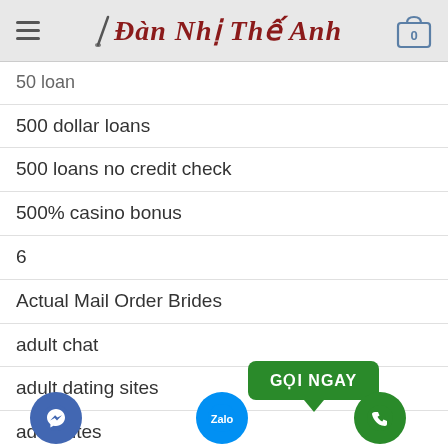Đàn Nhị Thế Anh
50 loan
500 dollar loans
500 loans no credit check
500% casino bonus
6
Actual Mail Order Brides
adult chat
adult dating sites
adult sites
[Figure (screenshot): GỌI NGAY button (green), Facebook Messenger button (blue circle), Zalo button (light blue circle), phone call button (green circle) floating UI overlays]